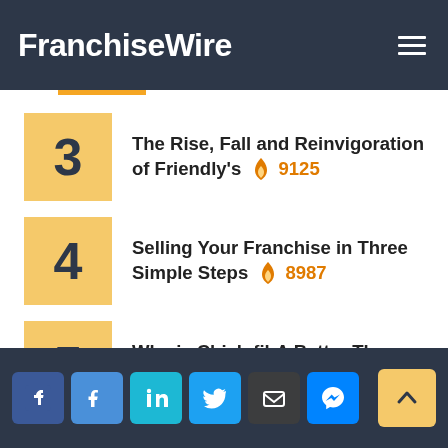FranchiseWire
3 — The Rise, Fall and Reinvigoration of Friendly's 🔥 9125
4 — Selling Your Franchise in Three Simple Steps 🔥 8987
5 — Why is Chick-fil-A Better Than McDonald's? 🔥 7697
Social share icons: Facebook, Facebook, LinkedIn, Twitter, Email, Messenger